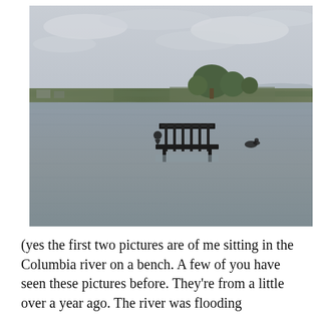[Figure (photo): A flooded river scene showing a park bench partially submerged in grey floodwater. Two waterfowl (likely geese) are visible on the water. The background shows vegetation, trees, and a flat landscape under an overcast sky.]
(yes the first two pictures are of me sitting in the Columbia river on a bench. A few of you have seen these pictures before. They're from a little over a year ago. The river was flooding